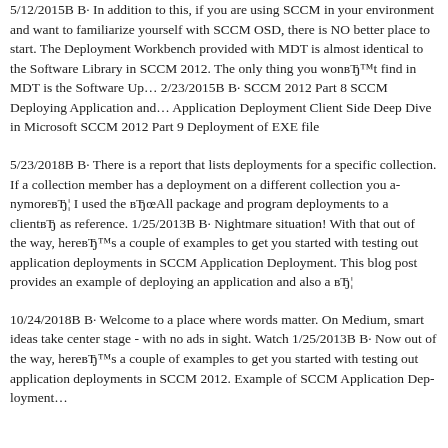5/12/2015В В· In addition to this, if you are using SCCM in your environment and want to familiarize yourself with SCCM OSD, there is NO better place to start. The Deployment Workbench provided with MDT is almost identical to the Software Library in SCCM 2012. The only thing you wonвЂ™t find in MDT is the Software Up… 2/23/2015В В· SCCM 2012 Part 8 SCCM Deploying Application and… Application Deployment Client Side Deep Dive in Microsoft SCCM 2012 Part 9 Deployment of EXE file
5/23/2018В В· There is a report that lists deployments for a specific collection. If a collection member has a deployment on a different collection you a… anymorевЂ¦ I used the вЂœAll package and program deployments to a clientвЂ as reference. 1/25/2013В В· Nightmare situation! With that out of the way, here's a couple of examples to get you started with testing out application deployments in SCCM Application Deployment. This blog post provides an example of deploying an application and also a вЂ¦
10/24/2018В В· Welcome to a place where words matter. On Medium, smart ideas take center stage - with no ads in sight. Watch 1/25/2013В В· Now out of the way, hereвЂ™s a couple of examples to get you started with testing out application deployments in SCCM 2012. Example of SCCM Application Dep…